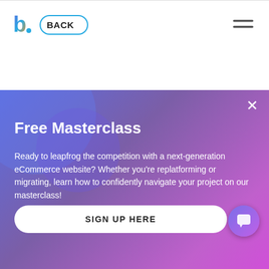[Figure (logo): Colorful 'b.' logo with dot in gradient colors]
BACK
[Figure (other): Hamburger menu icon (three horizontal lines)]
[Figure (other): Gradient popup card with blue to purple background, decorative circles, close X button, title, body text, sign up button, and chat bubble icon]
Free Masterclass
Ready to leapfrog the competition with a next-generation eCommerce website? Whether you're replatforming or migrating, learn how to confidently navigate your project on our masterclass!
SIGN UP HERE